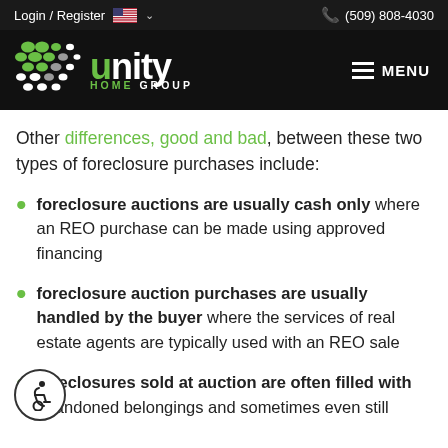Login / Register   (509) 808-4030
[Figure (logo): Unity Home Group logo with green and gray dot pattern and white text on black background, with hamburger MENU button]
Other differences, good and bad, between these two types of foreclosure purchases include:
foreclosure auctions are usually cash only where an REO purchase can be made using approved financing
foreclosure auction purchases are usually handled by the buyer where the services of real estate agents are typically used with an REO sale
foreclosures sold at auction are often filled with abandoned belongings and sometimes even still...